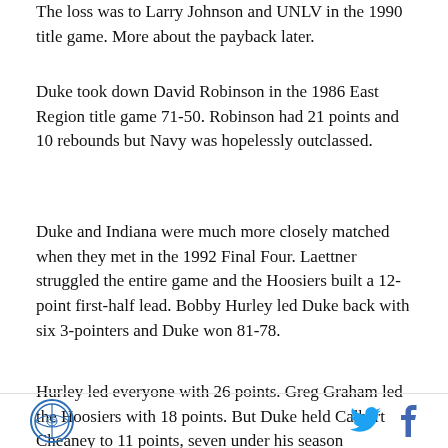The loss was to Larry Johnson and UNLV in the 1990 title game. More about the payback later.
Duke took down David Robinson in the 1986 East Region title game 71-50. Robinson had 21 points and 10 rebounds but Navy was hopelessly outclassed.
Duke and Indiana were much more closely matched when they met in the 1992 Final Four. Laettner struggled the entire game and the Hoosiers built a 12-point first-half lead. Bobby Hurley led Duke back with six 3-pointers and Duke won 81-78.
Hurley led everyone with 26 points. Greg Graham led the Hoosiers with 18 points. But Duke held Calbert Cheaney to 11 points, seven under his season